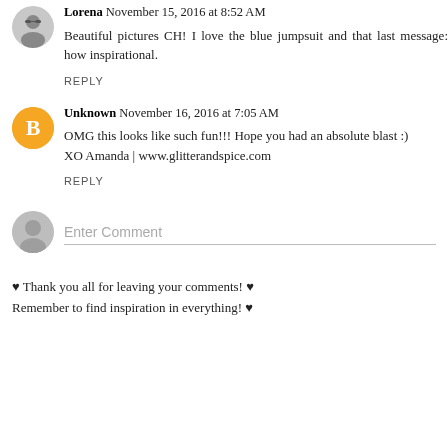Lorena November 15, 2016 at 8:52 AM
Beautiful pictures CH! I love the blue jumpsuit and that last message: how inspirational.
REPLY
Unknown November 16, 2016 at 7:05 AM
OMG this looks like such fun!!! Hope you had an absolute blast :)
XO Amanda | www.glitterandspice.com
REPLY
[Figure (other): Enter Comment input box with user avatar]
♥ Thank you all for leaving your comments! ♥
Remember to find inspiration in everything! ♥